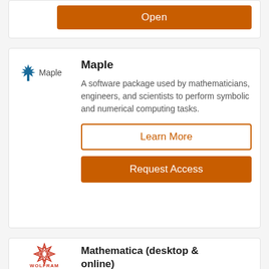[Figure (screenshot): Open button (orange) in a card at the top of the page]
[Figure (logo): Maple software logo — blue maple leaf icon with text 'Maple']
Maple
A software package used by mathematicians, engineers, and scientists to perform symbolic and numerical computing tasks.
Learn More
Request Access
[Figure (logo): Wolfram logo — red geometric flower/star shape with text 'WOLFRAM' below]
Mathematica (desktop & online)